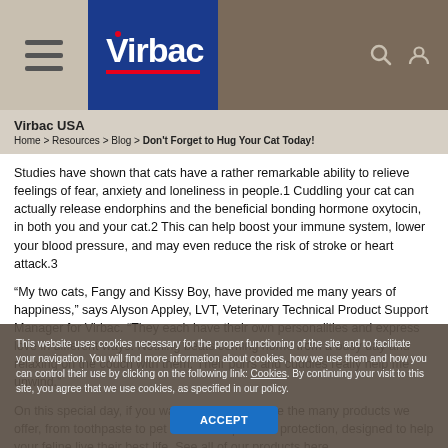Virbac logo header with hamburger menu and navigation icons
Virbac USA
Home > Resources > Blog > Don't Forget to Hug Your Cat Today!
Studies have shown that cats have a rather remarkable ability to relieve feelings of fear, anxiety and loneliness in people.1 Cuddling your cat can actually release endorphins and the beneficial bonding hormone oxytocin, in both you and your cat.2 This can help boost your immune system, lower your blood pressure, and may even reduce the risk of stroke or heart attack.3
“My two cats, Fangy and Kissy Boy, have provided me many years of happiness,” says Alyson Appley, LVT, Veterinary Technical Product Support Manager for Virbac. “They each have their own personalities and express love in different ways. Nothing beats coming home from a busy day and relaxing on the couch with them. Their purrs and cuddles really help me unwind.”
On this special day, if you want to find your feline the many products we offer, from toothpaste to pet nutrition to parasite protection, designed to help your feline live their best life. See all of our products here.
This website uses cookies necessary for the proper functioning of the site and to facilitate your navigation. You will find more information about cookies, how we use them and how you can control their use by clicking on the following link: Cookies. By continuing your visit to this site, you agree that we use cookies, as specified in our policy.